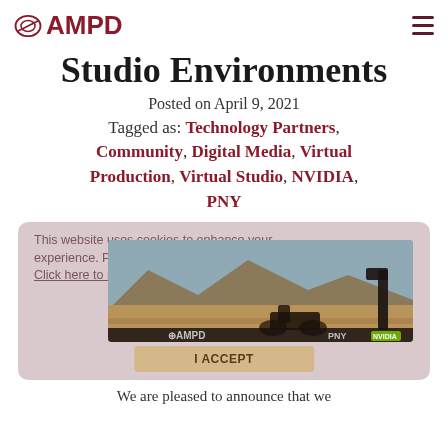AMPD
Studio Environments
Posted on April 9, 2021
Tagged as: Technology Partners, Community, Digital Media, Virtual Production, Virtual Studio, NVIDIA, PNY
[Figure (screenshot): Article thumbnail image showing a motorcycle in a desert landscape with mountains, with AMPD and PNY/NVIDIA logo bar at the bottom. A cookie consent banner overlays the left portion.]
We are pleased to announce that we